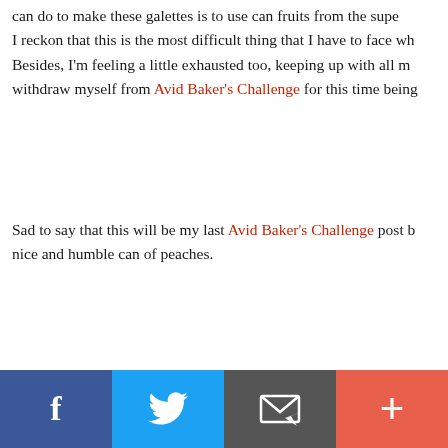can do to make these galettes is to use can fruits from the supe... I reckon that this is the most difficult thing that I have to face wh... Besides, I'm feeling a little exhausted too, keeping up with all m... withdraw myself from Avid Baker's Challenge for this time being...
Sad to say that this will be my last Avid Baker's Challenge post b... nice and humble can of peaches.
[Figure (photo): Close-up photo of peach galette with pastry brush and bowl in background, showing golden-orange canned peach slices in pastry with a green silicone brush resting in a glass bowl above.]